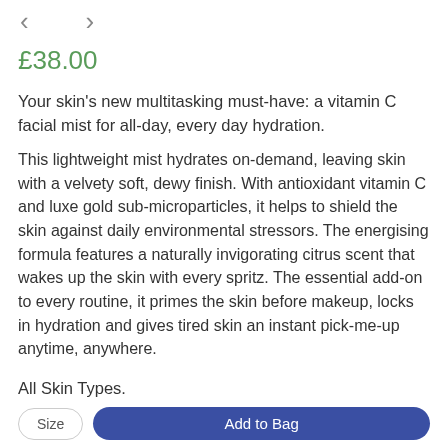< >
£38.00
Your skin's new multitasking must-have: a vitamin C facial mist for all-day, every day hydration.
This lightweight mist hydrates on-demand, leaving skin with a velvety soft, dewy finish. With antioxidant vitamin C and luxe gold sub-microparticles, it helps to shield the skin against daily environmental stressors. The energising formula features a naturally invigorating citrus scent that wakes up the skin with every spritz. The essential add-on to every routine, it primes the skin before makeup, locks in hydration and gives tired skin an instant pick-me-up anytime, anywhere.
All Skin Types.